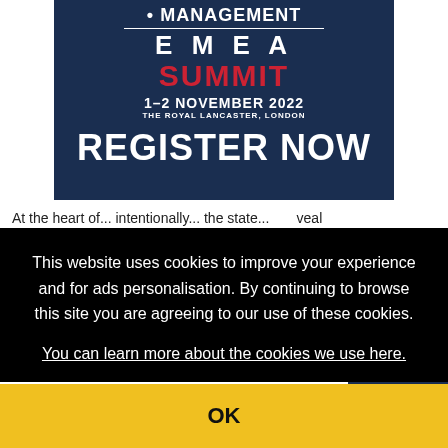[Figure (infographic): EMEA Summit banner ad: dark navy background with globe motif, text reading MANAGEMENT EMEA SUMMIT 1-2 NOVEMBER 2022 THE ROYAL LANCASTER, LONDON, and REGISTER NOW button in white bold text]
At the heart of... reveal ... to the ... rhaps ... ct or ... n from
This website uses cookies to improve your experience and for ads personalisation. By continuing to browse this site you are agreeing to our use of these cookies.
You can learn more about the cookies we use here.
[Figure (infographic): Partially visible second EMEA Summit banner showing REGIS NOW in white bold text on navy background]
OK